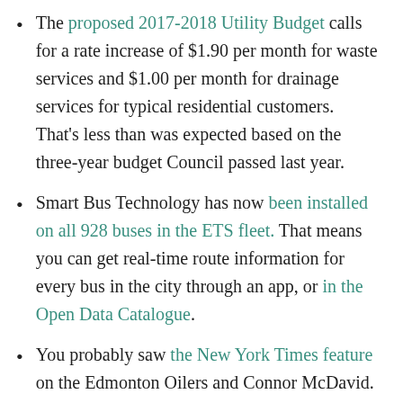The proposed 2017-2018 Utility Budget calls for a rate increase of $1.90 per month for waste services and $1.00 per month for drainage services for typical residential customers. That's less than was expected based on the three-year budget Council passed last year.
Smart Bus Technology has now been installed on all 928 buses in the ETS fleet. That means you can get real-time route information for every bus in the city through an app, or in the Open Data Catalogue.
You probably saw the New York Times feature on the Edmonton Oilers and Connor McDavid. It's really not about our city at all, but that ddn't stop the inevitable “back on the map” comments. I'm